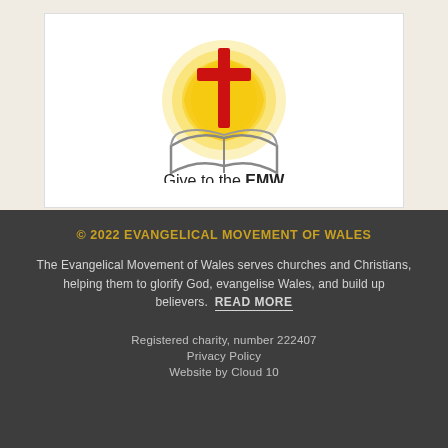[Figure (logo): EMW logo with red cross, open book, and golden radiant glow, with text 'Give to the EMW']
© 2022 EVANGELICAL MOVEMENT OF WALES
The Evangelical Movement of Wales serves churches and Christians, helping them to glorify God, evangelise Wales, and build up believers. READ MORE
Registered charity, number 222407
Privacy Policy
Website by Cloud 10